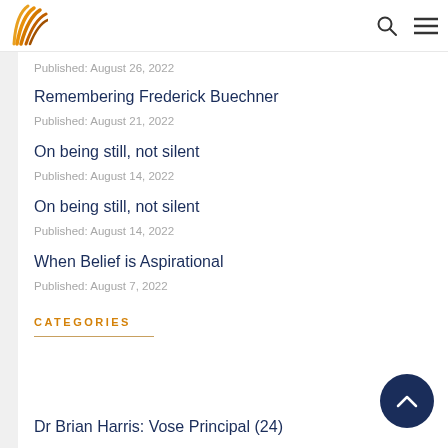Header with logo and navigation icons
Published: August 26, 2022
Remembering Frederick Buechner
Published: August 21, 2022
On being still, not silent
Published: August 14, 2022
On being still, not silent
Published: August 14, 2022
When Belief is Aspirational
Published: August 7, 2022
CATEGORIES
Dr Brian Harris: Vose Principal (24)